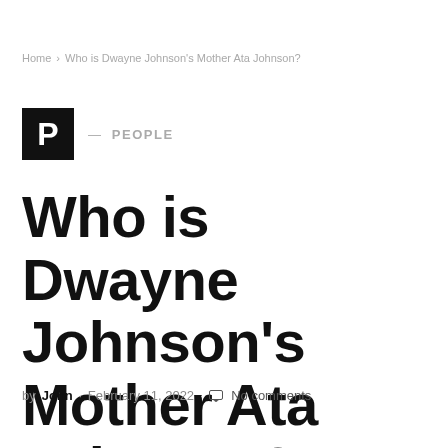Home > Who is Dwayne Johnson's Mother Ata Johnson?
[Figure (logo): Black square logo with white letter P, followed by em dash and PEOPLE category label]
Who is Dwayne Johnson's Mother Ata Johnson?
by John · February 11, 2022 · No comments